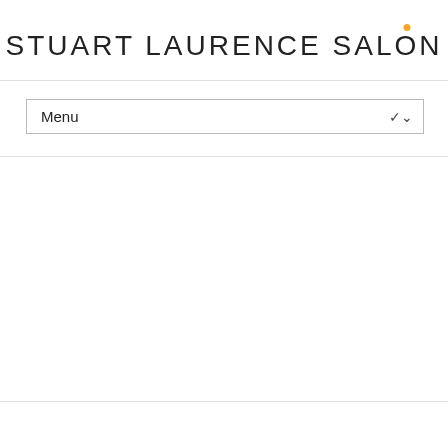[Figure (logo): Stuart Laurence Salon logo — uppercase text 'STUART LAURENCE SALON' with a small light blue dot above the O in SALON]
Menu